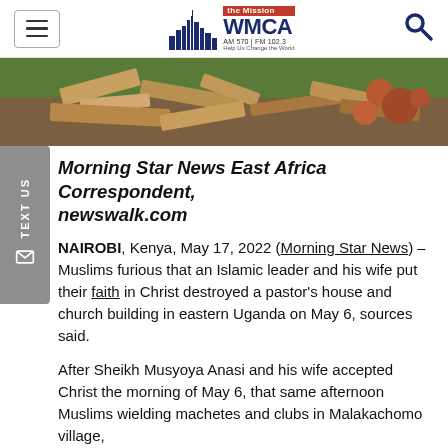WMCA The Mission AM 570 | FM 102.3 — navigation header
[Figure (photo): Pile of wooden debris and rubble outdoors]
Morning Star News East Africa Correspondent, newswalk.com
NAIROBI, Kenya, May 17, 2022 (Morning Star News) – Muslims furious that an Islamic leader and his wife put their faith in Christ destroyed a pastor's house and church building in eastern Uganda on May 6, sources said.
After Sheikh Musyoya Anasi and his wife accepted Christ the morning of May 6, that same afternoon Muslims wielding machetes and clubs in Malakachomo village,